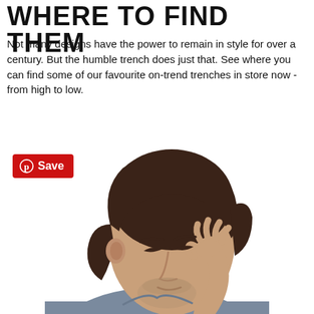WHERE TO FIND THEM
Not many designs have the power to remain in style for over a century. But the humble trench does just that. See where you can find some of our favourite on-trend trenches in store now - from high to low.
[Figure (photo): A man with dark hair scratching his head, looking downward, wearing a blue-grey top. A red Pinterest Save button appears in the upper left of the image.]